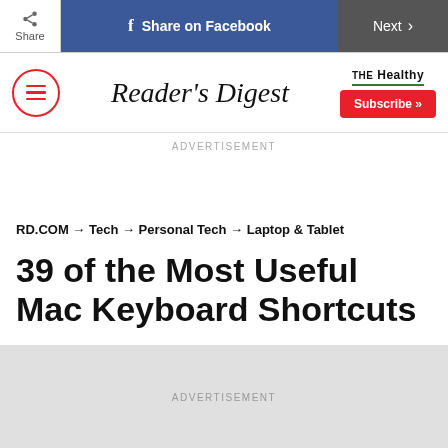Share | Share on Facebook | Next
[Figure (logo): Reader's Digest logo with hamburger menu icon and THE Healthy brand logo and Subscribe button]
ADVERTISEMENT
RD.COM → Tech → Personal Tech → Laptop & Tablet
39 of the Most Useful Mac Keyboard Shortcuts
ADVERTISEMENT